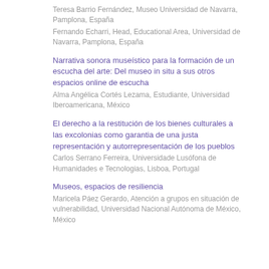Teresa Barrio Fernández, Museo Universidad de Navarra, Pamplona, España
Fernando Echarri, Head, Educational Area, Universidad de Navarra, Pamplona, España
Narrativa sonora museístico para la formación de un escucha del arte: Del museo in situ a sus otros espacios online de escucha
Alma Angélica Cortés Lezama, Estudiante, Universidad Iberoamericana, México
El derecho a la restitución de los bienes culturales a las excolonias como garantia de una justa representación y autorrepresentación de los pueblos
Carlos Serrano Ferreira, Universidade Lusófona de Humanidades e Tecnologias, Lisboa, Portugal
Museos, espacios de resiliencia
Maricela Páez Gerardo, Atención a grupos en situación de vulnerabilidad, Universidad Nacional Autónoma de México, México